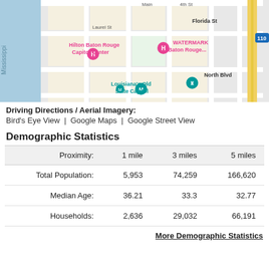[Figure (map): Google Maps view of downtown Baton Rouge, Louisiana showing Hilton Baton Rouge Capitol Center, WATERMARK Baton Rouge, Louisiana's Old State Capitol, streets including Laurel St, Florida St, North Blvd, and highway 110. Mississippi River visible on the left.]
Driving Directions / Aerial Imagery:
Bird's Eye View  |  Google Maps  |  Google Street View
Demographic Statistics
| Proximity: | 1 mile | 3 miles | 5 miles |
| --- | --- | --- | --- |
| Total Population: | 5,953 | 74,259 | 166,620 |
| Median Age: | 36.21 | 33.3 | 32.77 |
| Households: | 2,636 | 29,032 | 66,191 |
More Demographic Statistics